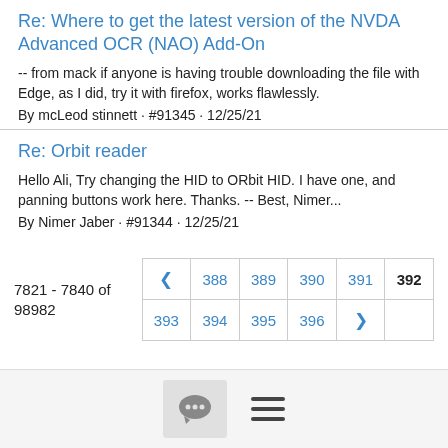Re: Where to get the latest version of the NVDA Advanced OCR (NAO) Add-On
-- from mack if anyone is having trouble downloading the file with Edge, as I did, try it with firefox, works flawlessly.
By mcLeod stinnett · #91345 · 12/25/21
Re: Orbit reader
Hello Ali, Try changing the HID to ORbit HID. I have one, and panning buttons work here. Thanks. -- Best, Nimer...
By Nimer Jaber · #91344 · 12/25/21
7821 - 7840 of 98982
[Figure (other): Pagination control showing pages 388-396 with current page 392 highlighted in bold, and navigation arrows]
[Figure (other): Footer bar with chat bubble icon button and hamburger menu icon]